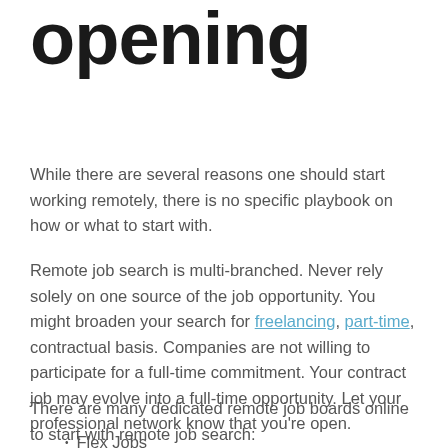opening
While there are several reasons one should start working remotely, there is no specific playbook on how or what to start with.
Remote job search is multi-branched. Never rely solely on one source of the job opportunity. You might broaden your search for freelancing, part-time, contractual basis. Companies are not willing to participate for a full-time commitment. Your contract job may evolve into a full-time opportunity. Let your professional network know that you're open.
There are many dedicated remote job boards online to start with remote job search:
Flex Jobs